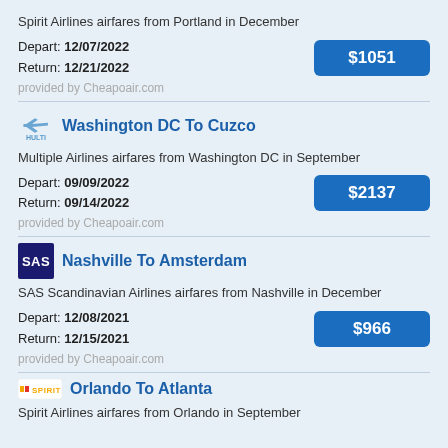Spirit Airlines airfares from Portland in December
Depart: 12/07/2022
Return: 12/21/2022
$1051
provided by Cheapoair.com
Washington DC To Cuzco
Multiple Airlines airfares from Washington DC in September
Depart: 09/09/2022
Return: 09/14/2022
$2137
provided by Cheapoair.com
Nashville To Amsterdam
SAS Scandinavian Airlines airfares from Nashville in December
Depart: 12/08/2021
Return: 12/15/2021
$966
provided by Cheapoair.com
Orlando To Atlanta
Spirit Airlines airfares from Orlando in September